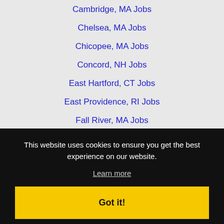Cambridge, MA Jobs
Chelsea, MA Jobs
Chicopee, MA Jobs
Concord, NH Jobs
East Hartford, CT Jobs
East Providence, RI Jobs
Fall River, MA Jobs
Framingham, MA Jobs
Hamden, CT Jobs
Hartford, CT Jobs
Haverhill, MA Jobs
Holyoke, MA Jobs
Lynn, MA Jobs
Malden, MA Jobs
Manchester, NH Jobs
Marthas Vineyard, MA Jobs
This website uses cookies to ensure you get the best experience on our website.
Learn more
Got it!